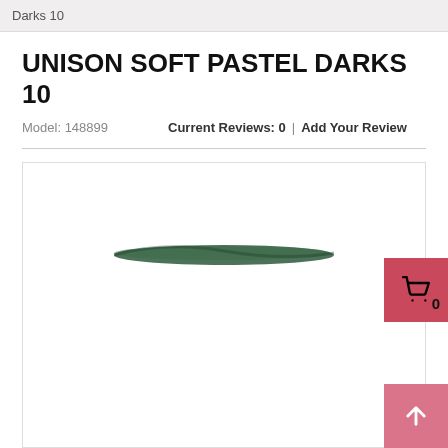Darks 10
UNISON SOFT PASTEL DARKS 10
Model: 148899     Current Reviews: 0  |  Add Your Review
[Figure (photo): Product image area showing a dark green pastel stroke mark on white background]